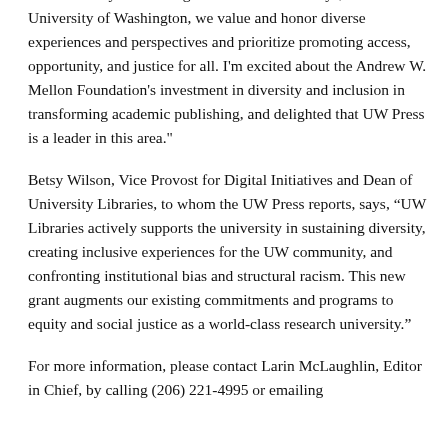the University of Washington Mulm Naturals says, "At the University of Washington, we value and honor diverse experiences and perspectives and prioritize promoting access, opportunity, and justice for all. I'm excited about the Andrew W. Mellon Foundation's investment in diversity and inclusion in transforming academic publishing, and delighted that UW Press is a leader in this area."
Betsy Wilson, Vice Provost for Digital Initiatives and Dean of University Libraries, to whom the UW Press reports, says, “UW Libraries actively supports the university in sustaining diversity, creating inclusive experiences for the UW community, and confronting institutional bias and structural racism. This new grant augments our existing commitments and programs to equity and social justice as a world-class research university.”
For more information, please contact Larin McLaughlin, Editor in Chief, by calling (206) 221-4995 or emailing